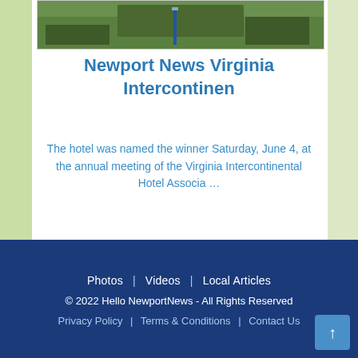[Figure (photo): Exterior photo of Newport News Virginia Intercontinental hotel with greenery and landscaping]
Newport News Virginia Intercontinen
The hotel was named the winner Saturday, June 4, at the annual meeting of the Virginia Intercontinental Hotel Associa …
Sponsored Link
Sponsored Link
[Figure (map): Google Maps style street map showing local area]
Photos | Videos | Local Articles
© 2022 Hello NewportNews - All Rights Reserved
Privacy Policy | Terms & Conditions | Contact Us